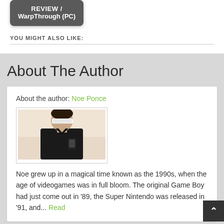[Figure (screenshot): Thumbnail box with dark gray background showing text 'REVIEW / WarpThrough (PC)']
YOU MIGHT ALSO LIKE:
About The Author
About the author: Noe Ponce
[Figure (photo): Photo of author Noe Ponce wearing futuristic sunglasses, selfie style]
Noe grew up in a magical time known as the 1990s, when the age of videogames was in full bloom. The original Game Boy had just come out in '89, the Super Nintendo was released in '91, and... Read